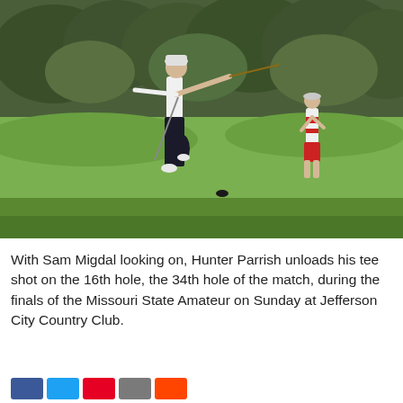[Figure (photo): Two golfers on a golf course. In the foreground, a golfer in a white hat, white shirt, and dark pants has just completed a tee shot, with his club extended. In the background to the right, another golfer in a white and red striped shirt with red shorts watches. The setting is a lush green fairway with trees in the background.]
With Sam Migdal looking on, Hunter Parrish unloads his tee shot on the 16th hole, the 34th hole of the match, during the finals of the Missouri State Amateur on Sunday at Jefferson City Country Club.